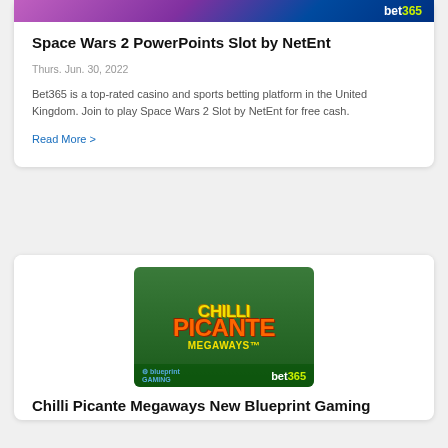[Figure (screenshot): Bet365 casino promotional banner image (partial, top cropped)]
Space Wars 2 PowerPoints Slot by NetEnt
Thurs. Jun. 30, 2022
Bet365 is a top-rated casino and sports betting platform in the United Kingdom. Join to play Space Wars 2 Slot by NetEnt for free cash.
Read More >
[Figure (screenshot): Chilli Picante Megaways slot game promotional image with Blueprint Gaming and bet365 branding]
Chilli Picante Megaways New Blueprint Gaming